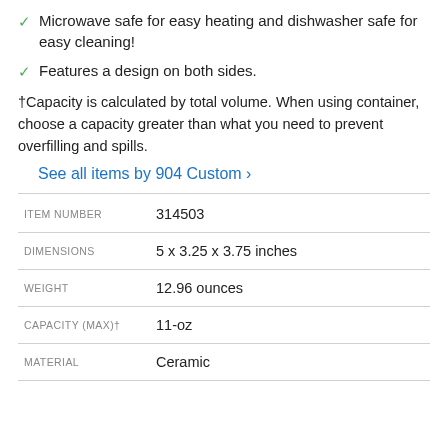Microwave safe for easy heating and dishwasher safe for easy cleaning!
Features a design on both sides.
†Capacity is calculated by total volume. When using container, choose a capacity greater than what you need to prevent overfilling and spills.
See all items by 904 Custom >
|  |  |
| --- | --- |
| ITEM NUMBER | 314503 |
| DIMENSIONS | 5 x 3.25 x 3.75 inches |
| WEIGHT | 12.96 ounces |
| CAPACITY (MAX)† | 11-oz |
| MATERIAL | Ceramic |